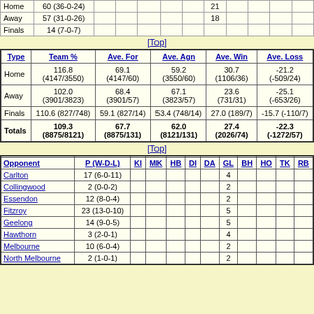|  | P(W-D-L) |  |  |  |  |  | GL |  |  |  |  |
| --- | --- | --- | --- | --- | --- | --- | --- | --- | --- | --- | --- |
| Home | 60 (36-0-24) |  |  |  |  |  | 21 |  |  |  |  |
| Away | 57 (31-0-26) |  |  |  |  |  | 18 |  |  |  |  |
| Finals | 14 (7-0-7) |  |  |  |  |  |  |  |  |  |  |
[Top]
| Type | Team % | Ave. For | Ave. Agn | Ave. Win | Ave. Loss |
| --- | --- | --- | --- | --- | --- |
| Home | 116.8 (4147/3550) | 69.1 (4147/60) | 59.2 (3550/60) | 30.7 (1106/36) | -21.2 (-509/24) |
| Away | 102.0 (3901/3823) | 68.4 (3901/57) | 67.1 (3823/57) | 23.6 (731/31) | -25.1 (-653/26) |
| Finals | 110.6 (827/748) | 59.1 (827/14) | 53.4 (748/14) | 27.0 (189/7) | -15.7 (-110/7) |
| Totals | 109.3 (8875/8121) | 67.7 (8875/131) | 62.0 (8121/131) | 27.4 (2026/74) | -22.3 (-1272/57) |
[Top]
| Opponent | P(W-D-L) | KI | MK | HB | DI | DA | GL | BH | HO | TK | RB |
| --- | --- | --- | --- | --- | --- | --- | --- | --- | --- | --- | --- |
| Carlton | 17 (6-0-11) |  |  |  |  |  | 4 |  |  |  |  |
| Collingwood | 2 (0-0-2) |  |  |  |  |  | 2 |  |  |  |  |
| Essendon | 12 (8-0-4) |  |  |  |  |  | 2 |  |  |  |  |
| Fitzroy | 23 (13-0-10) |  |  |  |  |  | 5 |  |  |  |  |
| Geelong | 14 (9-0-5) |  |  |  |  |  | 5 |  |  |  |  |
| Hawthorn | 3 (2-0-1) |  |  |  |  |  | 4 |  |  |  |  |
| Melbourne | 10 (6-0-4) |  |  |  |  |  | 2 |  |  |  |  |
| North Melbourne | 2 (1-0-1) |  |  |  |  |  | 2 |  |  |  |  |